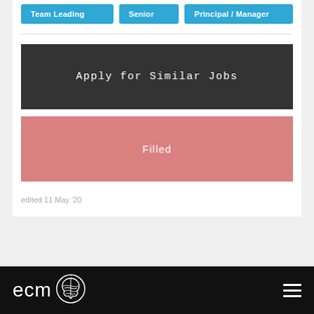Team Leading
Senior
Principal / Manager
Apply for Similar Jobs
Filled
edited 11 May '20
[Figure (logo): ECM logo with brain icon on black footer bar, and hamburger menu icon on the right]